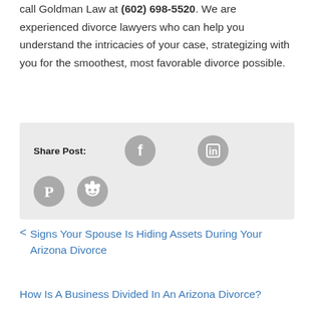call Goldman Law at (602) 698-5520. We are experienced divorce lawyers who can help you understand the intricacies of your case, strategizing with you for the smoothest, most favorable divorce possible.
Share Post:
[Figure (infographic): Social media share buttons: Facebook, LinkedIn, Pinterest, Reddit icons in gray circles]
< Signs Your Spouse Is Hiding Assets During Your Arizona Divorce
How Is A Business Divided In An Arizona Divorce?